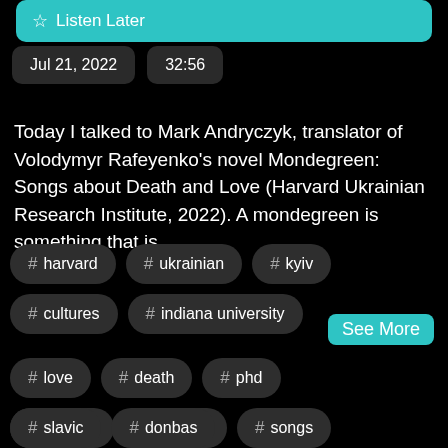[Figure (screenshot): Cyan/teal Listen Later button at top]
Jul 21, 2022
32:56
Today I talked to Mark Andryczyk, translator of Volodymyr Rafeyenko's novel Mondegreen: Songs about Death and Love (Harvard Ukrainian Research Institute, 2022). A mondegreen is something that is
See More
# love
# death
# phd
# ukraine
# russian
# songs
# harvard
# ukrainian
# kyiv
# cultures
# indiana university
# slavic
# donbas